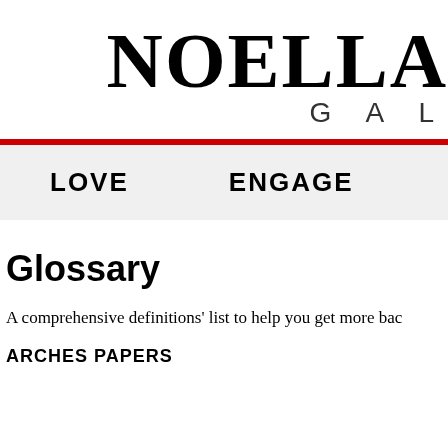NOELLA GALLERY
LOVE   ENGAGE
Glossary
A comprehensive definitions' list to help you get more bac
ARCHES PAPERS